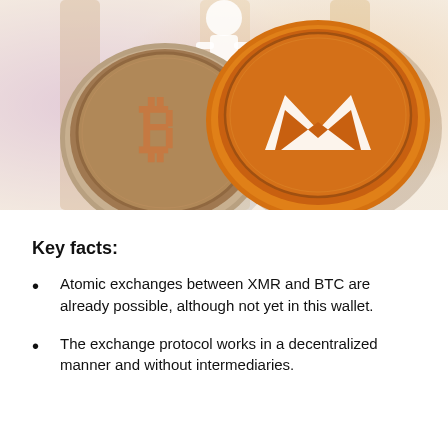[Figure (photo): Two cryptocurrency coins side by side: a silver-gold Bitcoin (BTC) coin on the left showing the Bitcoin logo, and a gold Monero (XMR) coin on the right showing the Monero M logo, on a blurred colorful background.]
Key facts:
Atomic exchanges between XMR and BTC are already possible, although not yet in this wallet.
The exchange protocol works in a decentralized manner and without intermediaries.